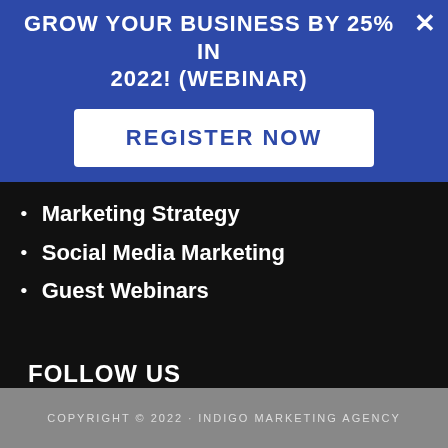GROW YOUR BUSINESS BY 25% IN 2022! (WEBINAR)
REGISTER NOW
Marketing Strategy
Social Media Marketing
Guest Webinars
FOLLOW US
[Figure (other): Social media icons: Facebook, Google, LinkedIn, Twitter, YouTube]
COPYRIGHT © 2022 · INDIGO MARKETING AGENCY